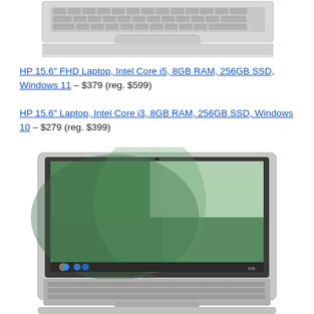[Figure (photo): Bottom portion of a silver HP laptop showing keyboard and trackpad from above, partially cropped]
HP 15.6" FHD Laptop, Intel Core i5, 8GB RAM, 256GB SSD, Windows 11 – $379 (reg. $599)
HP 15.6" Laptop, Intel Core i3, 8GB RAM, 256GB SSD, Windows 10 – $279 (reg. $399)
[Figure (photo): Samsung Chromebook laptop with green/teal wallpaper on screen, silver body with black keyboard, shown from a slight angle]